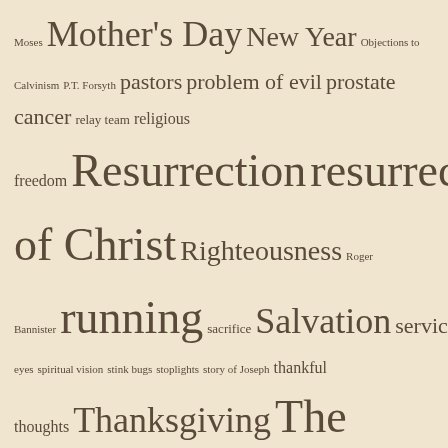[Figure (infographic): Tag cloud with religious and lifestyle topics in various font sizes on a beige background. Tags include: Moses, Mother's Day, New Year, Objections to Calvinism, P.T. Forsyth, pastors, problem of evil, prostate cancer, relay team, religious freedom, Resurrection, resurrection of Christ, Righteousness, Roger Bannister, running, sacrifice, Salvation, service, Sin, spiritual eyes, spiritual vision, stink bugs, stoplights, story of Joseph, thankful thoughts, Thanksgiving, The Cross, The Holy, trust, USA, water from the Rock, wisdom, yielded]
BLOGS I FOLLOW
Some Jesus Things
Pastor Matt